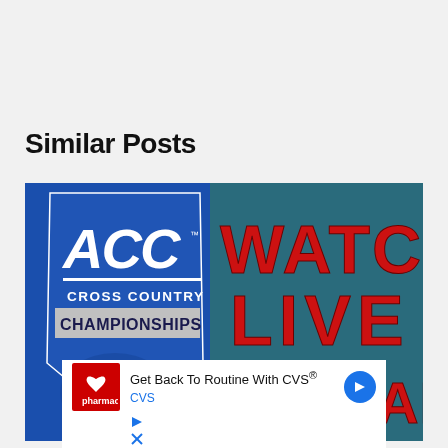Similar Posts
[Figure (illustration): ACC Cross Country Championships promotional image showing 'WATCH LIVE STREAM' text on teal background with blue ACC shield logo]
[Figure (infographic): CVS Pharmacy advertisement: 'Get Back To Routine With CVS® CVS' with CVS pharmacy logo and navigation arrow icon]